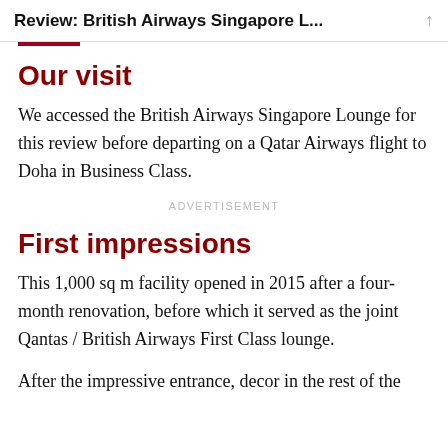Review: British Airways Singapore L...
Our visit
We accessed the British Airways Singapore Lounge for this review before departing on a Qatar Airways flight to Doha in Business Class.
ADVERTISEMENT
First impressions
This 1,000 sq m facility opened in 2015 after a four-month renovation, before which it served as the joint Qantas / British Airways First Class lounge.
After the impressive entrance, decor in the rest of the